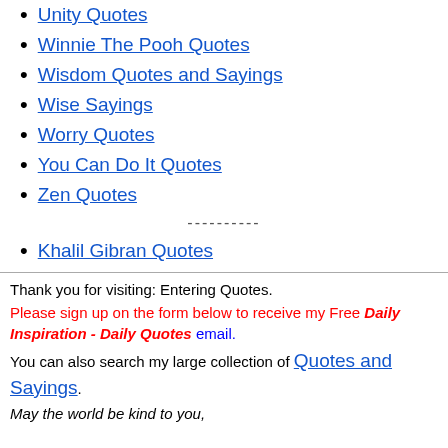Unity Quotes
Winnie The Pooh Quotes
Wisdom Quotes and Sayings
Wise Sayings
Worry Quotes
You Can Do It Quotes
Zen Quotes
----------
Khalil Gibran Quotes
Thank you for visiting: Entering Quotes.
Please sign up on the form below to receive my Free Daily Inspiration - Daily Quotes email.
You can also search my large collection of Quotes and Sayings.
May the world be kind to you,